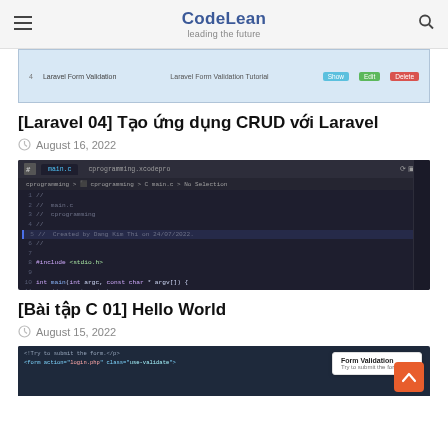CodeLean — leading the future
[Figure (screenshot): Partial screenshot of a Laravel CRUD table interface with Show, Edit, Delete buttons]
[Laravel 04] Tạo ứng dụng CRUD với Laravel
August 16, 2022
[Figure (screenshot): Screenshot of Xcode/VS Code editor showing main.c C programming file with code including #include <stdio.h>, int main, printf, scanf functions]
[Bài tập C 01] Hello World
August 15, 2022
[Figure (screenshot): Partial screenshot of a form validation tutorial page with HTML code and Form Validation popup overlay]